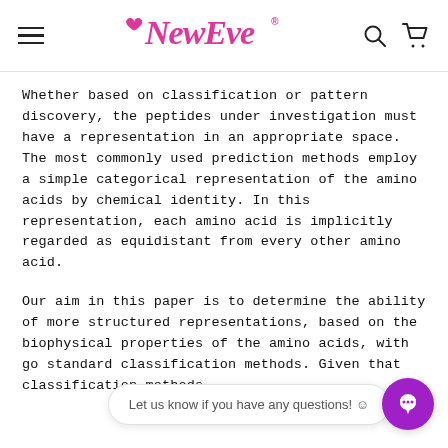NewEve — navigation header with hamburger menu, logo, search and cart icons
Whether based on classification or pattern discovery, the peptides under investigation must have a representation in an appropriate space. The most commonly used prediction methods employ a simple categorical representation of the amino acids by chemical identity. In this representation, each amino acid is implicitly regarded as equidistant from every other amino acid.
Our aim in this paper is to determine the ability of more structured representations, based on the biophysical properties of the amino acids, with going standard classification methods. Given that classification methods...